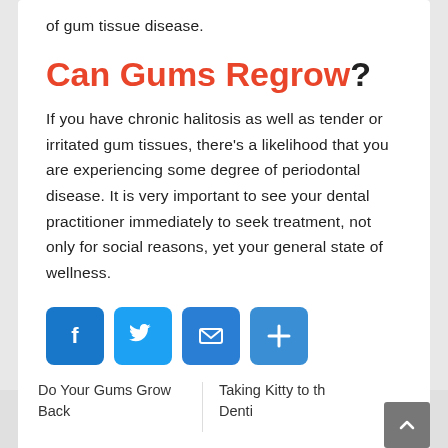of gum tissue disease.
Can Gums Regrow?
If you have chronic halitosis as well as tender or irritated gum tissues, there’s a likelihood that you are experiencing some degree of periodontal disease. It is very important to see your dental practitioner immediately to seek treatment, not only for social reasons, yet your general state of wellness.
[Figure (infographic): Social sharing buttons: Facebook (blue), Twitter (light blue), Email (blue), Share/Plus (blue)]
Do Your Gums Grow Back
Taking Kitty to the Denti…